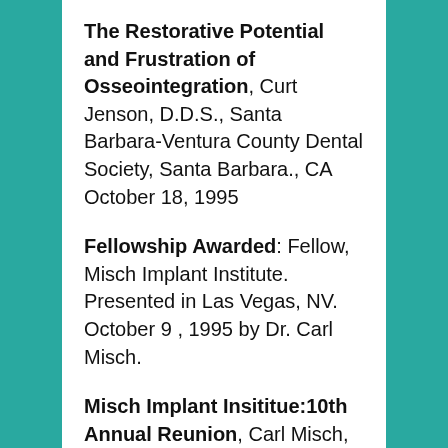The Restorative Potential and Frustration of Osseointegration, Curt Jenson, D.D.S., Santa Barbara-Ventura County Dental Society, Santa Barbara., CA October 18, 1995
Fellowship Awarded: Fellow, Misch Implant Institute. Presented in Las Vegas, NV. October 9 , 1995 by Dr. Carl Misch.
Misch Implant Insititue:10th Annual Reunion, Carl Misch, D.D.S.,